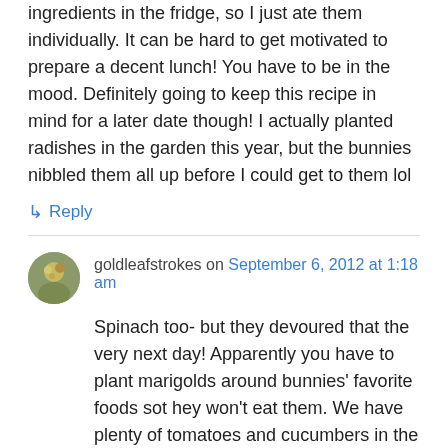ingredients in the fridge, so I just ate them individually. It can be hard to get motivated to prepare a decent lunch! You have to be in the mood. Definitely going to keep this recipe in mind for a later date though! I actually planted radishes in the garden this year, but the bunnies nibbled them all up before I could get to them lol
↳ Reply
goldleafstrokes on September 6, 2012 at 1:18 am
Spinach too- but they devoured that the very next day! Apparently you have to plant marigolds around bunnies' favorite foods sot hey won't eat them. We have plenty of tomatoes and cucumbers in the garden though, so I can use